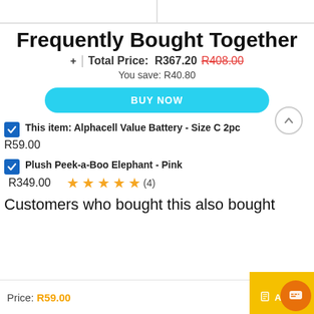Frequently Bought Together
+ | Total Price: R367.20  R408.00
You save: R40.80
BUY NOW
This item: Alphacell Value Battery - Size C 2pc
R59.00
Plush Peek-a-Boo Elephant - Pink
R349.00  ★★★★★ (4)
Customers who bought this also bought
Price: R59.00
ADD T